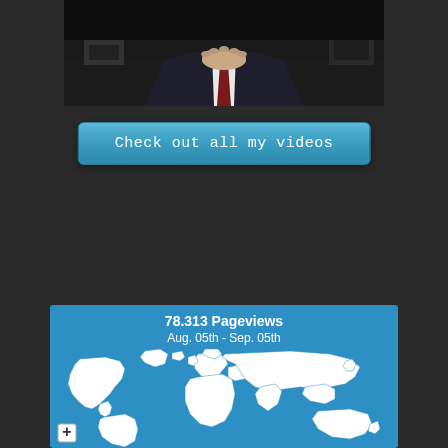[Figure (photo): A man in a dark suit and red tie sitting at a desk with hands clasped, visible from chest down, dark background]
Check out all my videos
[Figure (map): World map showing 78,313 Pageviews from Aug. 05th - Sep. 05th, white continents on blue background with zoom control]